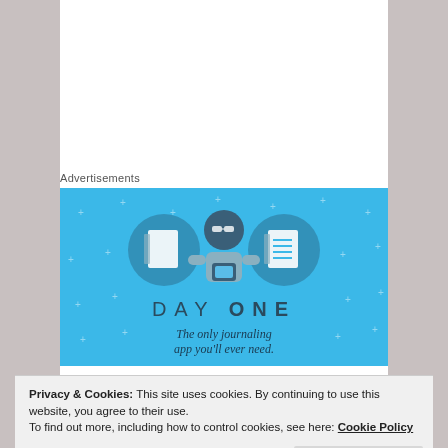Advertisements
[Figure (illustration): Day One journaling app advertisement. Blue background with a cartoon figure holding a phone, flanked by two circular icons showing a blank notebook and a lined notebook. Text reads DAY ONE - The only journaling app you'll ever need.]
Privacy & Cookies: This site uses cookies. By continuing to use this website, you agree to their use.
To find out more, including how to control cookies, see here: Cookie Policy
Close and accept
Advertisements